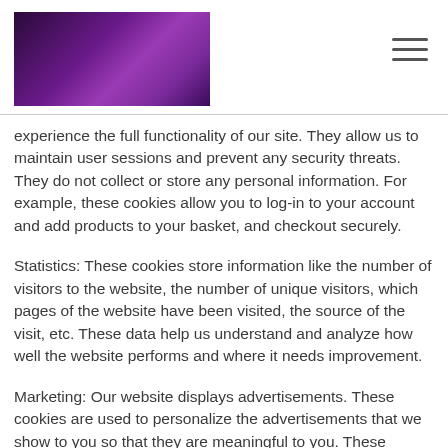[Figure (logo): Purple/magenta gradient rectangular logo banner]
experience the full functionality of our site. They allow us to maintain user sessions and prevent any security threats. They do not collect or store any personal information. For example, these cookies allow you to log-in to your account and add products to your basket, and checkout securely.
Statistics: These cookies store information like the number of visitors to the website, the number of unique visitors, which pages of the website have been visited, the source of the visit, etc. These data help us understand and analyze how well the website performs and where it needs improvement.
Marketing: Our website displays advertisements. These cookies are used to personalize the advertisements that we show to you so that they are meaningful to you. These